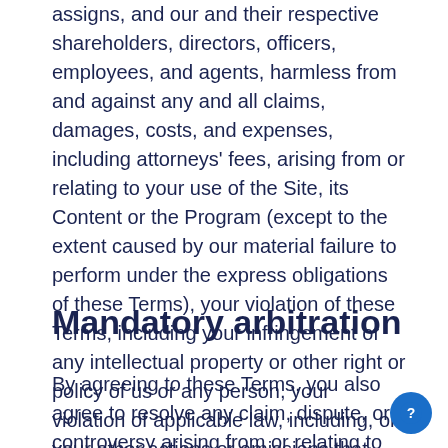assigns, and our and their respective shareholders, directors, officers, employees, and agents, harmless from and against any and all claims, damages, costs, and expenses, including attorneys' fees, arising from or relating to your use of the Site, its Content or the Program (except to the extent caused by our material failure to perform under the express obligations of these Terms), your violation of these Terms, including your infringement of any intellectual property or other right or policy of us or any person, your violation of applicable law, including, or your other actions or omissions that result in liability to us. We reserve the right, at your expense, to assume the exclusive defense and control of any matter for which you are required to indemnify us under these Terms, and you agree to cooperate with our defense of these claims.
Mandatory arbitration
By agreeing to these Terms, you also agree to resolve any claim, dispute, or controversy arising from or relating to the Site, its Content, the Program or these Terms (or